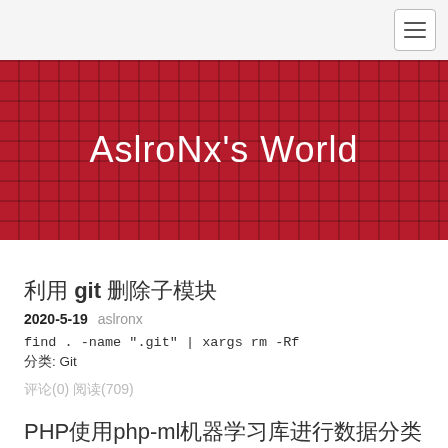AslroNx's World
利用 git 删除子模块
2020-5-19 aslronx
find . -name ".git" | xargs rm -Rf
分类: Git
评论(0) 阅读(709)
PHP使用php-ml机器学习库进行数据分类